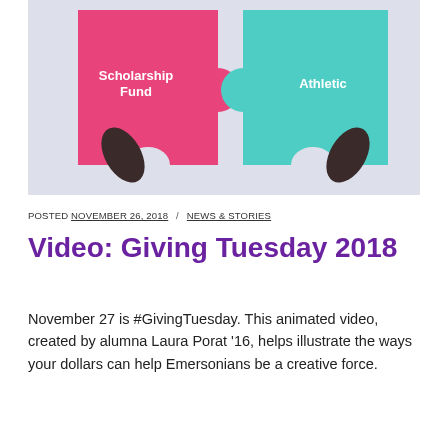[Figure (illustration): Animated-style illustration of two dark-skinned hands holding puzzle pieces. The left hand holds a pink/red puzzle piece labeled 'Scholarship Fund' in white text, and the right hand holds a teal/mint puzzle piece labeled 'Athletics' in white text. The pieces are fitting together against a light gray-blue background.]
POSTED NOVEMBER 26, 2018 / NEWS & STORIES
Video: Giving Tuesday 2018
November 27 is #GivingTuesday. This animated video, created by alumna Laura Porat '16, helps illustrate the ways your dollars can help Emersonians be a creative force.